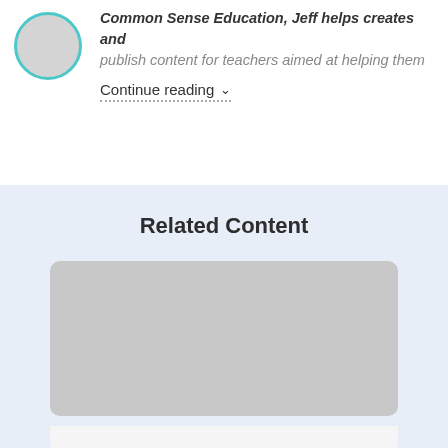As Senior Producer and Content Strategist, Common Sense Education, Jeff helps creates and publish content for teachers aimed at helping them
Continue reading ∨
Related Content
[Figure (illustration): Gray rounded rectangle placeholder card for related content]